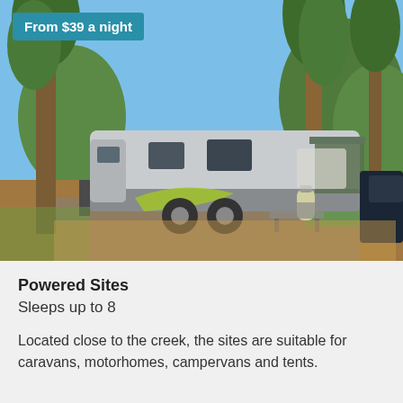[Figure (photo): A caravan/travel trailer parked at a powered campsite surrounded by tall pine trees under a clear blue sky. The caravan is grey with yellow-green accents and has an awning extended. A gas cylinder and car are visible nearby.]
From $39 a night
Powered Sites
Sleeps up to 8
Located close to the creek, the sites are suitable for caravans, motorhomes, campervans and tents.